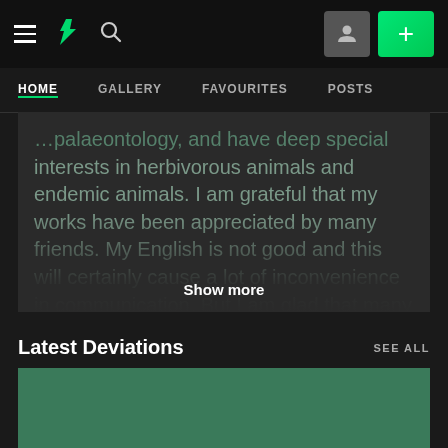DeviantArt navigation bar with hamburger menu, DA logo, search icon, user button, and + button
HOME | GALLERY | FAVOURITES | POSTS
...palaeontology, and have deep special interests in herbivorous animals and endemic animals. I am grateful that my works have been appreciated by many friends. My English is not good and this will certainly cause a lot of inconvenience in communication. But I am glad that many friends are still very patient. Through this process, I have
Show more
Latest Deviations
SEE ALL